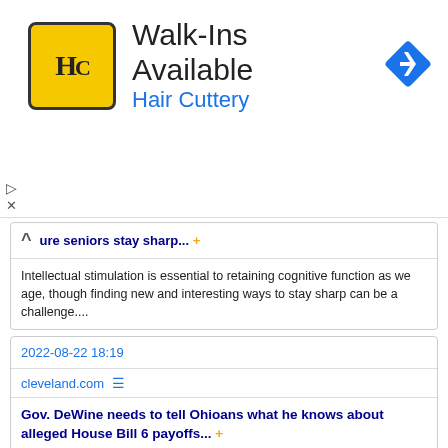[Figure (advertisement): Hair Cuttery ad banner with yellow HC logo, Walk-Ins Available headline, blue navigation diamond icon]
ure seniors stay sharp... +
Intellectual stimulation is essential to retaining cognitive function as we age, though finding new and interesting ways to stay sharp can be a challenge....
2022-08-22 18:19
cleveland.com
Gov. DeWine needs to tell Ohioans what he knows about alleged House Bill 6 payoffs... +
The thought that Mike DeWine, the state's chief Republican officeholder, was clueless to the alleged payoffs to the speaker of the Ohio House and to Sam Randazzo, his own chief energy appointee at the Public Utilities Commission of Ohio, fails the sme...
2022-08-22 18:07